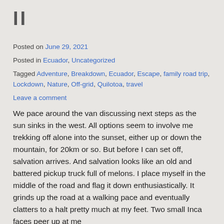II
Posted on June 29, 2021
Posted in Ecuador, Uncategorized
Tagged Adventure, Breakdown, Ecuador, Escape, family road trip, Lockdown, Nature, Off-grid, Quilotoa, travel
Leave a comment
We pace around the van discussing next steps as the sun sinks in the west. All options seem to involve me trekking off alone into the sunset, either up or down the mountain, for 20km or so. But before I can set off, salvation arrives. And salvation looks like an old and battered pickup truck full of melons. I place myself in the middle of the road and flag it down enthusiastically. It grinds up the road at a walking pace and eventually clatters to a halt pretty much at my feet. Two small Inca faces peer up at me